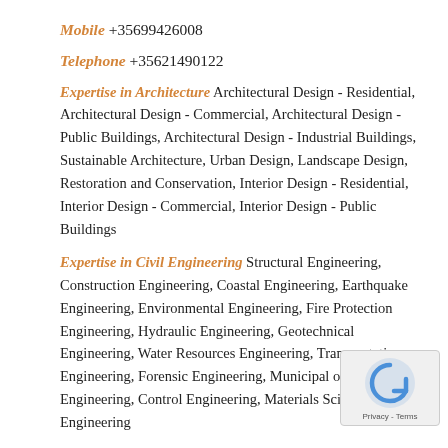Mobile +35699426008
Telephone +35621490122
Expertise in Architecture Architectural Design - Residential, Architectural Design - Commercial, Architectural Design - Public Buildings, Architectural Design - Industrial Buildings, Sustainable Architecture, Urban Design, Landscape Design, Restoration and Conservation, Interior Design - Residential, Interior Design - Commercial, Interior Design - Public Buildings
Expertise in Civil Engineering Structural Engineering, Construction Engineering, Coastal Engineering, Earthquake Engineering, Environmental Engineering, Fire Protection Engineering, Hydraulic Engineering, Geotechnical Engineering, Water Resources Engineering, Transportation Engineering, Forensic Engineering, Municipal or Urban Engineering, Control Engineering, Materials Science and Engineering
Other Expertise Valuations, Project Management,